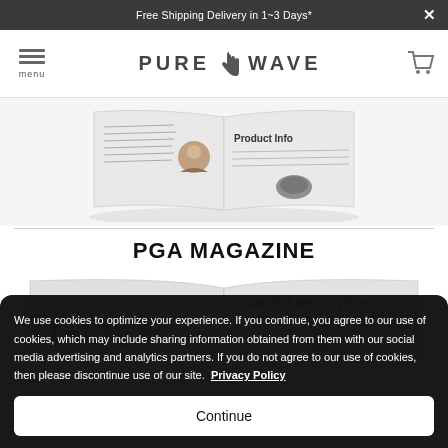Free Shipping Delivery in 1~3 Days*
[Figure (logo): Pure Wave logo with hand icon in navigation bar]
[Figure (photo): Open magazine page showing product advertisement]
PGA MAGAZINE
[Figure (photo): Open magazine showing GOLF and FASTER RECOVERY PERCUSSION MASSAGE text]
We use cookies to optimize your experience. If you continue, you agree to our use of cookies, which may include sharing information obtained from them with our social media advertising and analytics partners. If you do not agree to our use of cookies, then please discontinue use of our site. Privacy Policy